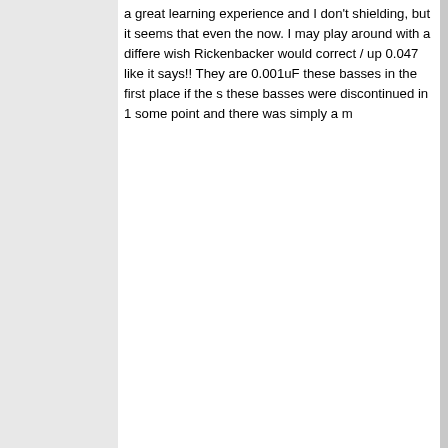a great learning experience and I don't shielding, but it seems that even the now. I may play around with a differe wish Rickenbacker would correct / up 0.047 like it says!! They are 0.001uF these basses in the first place if the s these basses were discontinued in 1 some point and there was simply a m
[Figure (screenshot): Up and down arrow navigation buttons (blue circle icons)]
[Figure (screenshot): Profile button with icon]
Display posts from previous: All p
New Topic   Post Reply   Page 1 of 1  [ 9 posts ]
Board index » Just Basses
It is currently Fri Aug 19, 2022 1:20 pm
All times are UTC - 8 hours